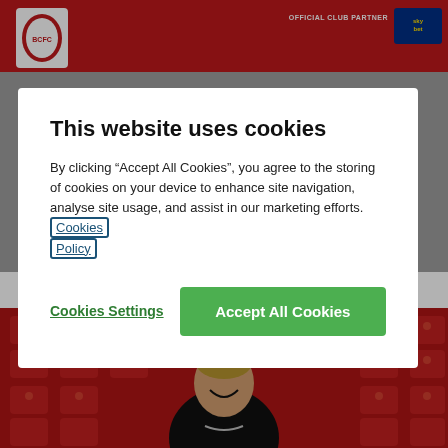Bristol City FC website header with club logo and OFFICIAL CLUB PARTNER / Sky Bet branding
[Figure (screenshot): Cookie consent modal dialog overlaying a football club website. Behind the modal is a red header bar with the Bristol City FC logo and a Sky Bet partner badge. Below is a gray section and a photo of a smiling footballer in a black shirt seated in red stadium seats.]
This website uses cookies
By clicking “Accept All Cookies”, you agree to the storing of cookies on your device to enhance site navigation, analyse site usage, and assist in our marketing efforts.   Cookies Policy
Cookies Settings
Accept All Cookies
13 August 2020